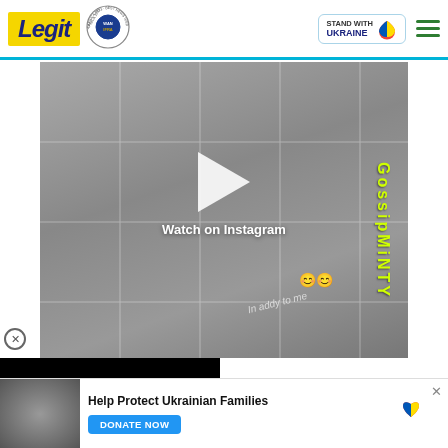Legit | WAN-IFRA 2021 Best News Website in Africa | Stand with Ukraine
[Figure (screenshot): Instagram video embed showing children's feet on a tiled floor with play button overlay and text 'Watch on Instagram', 'gossip', 'In addy to me']
[Figure (screenshot): Black video player with white play triangle button]
[Figure (infographic): Red chevron/down-arrow button]
[Figure (photo): Ad banner showing Ukrainian families photo with 'Help Protect Ukrainian Families' text and DONATE NOW button with Ukraine heart logo]